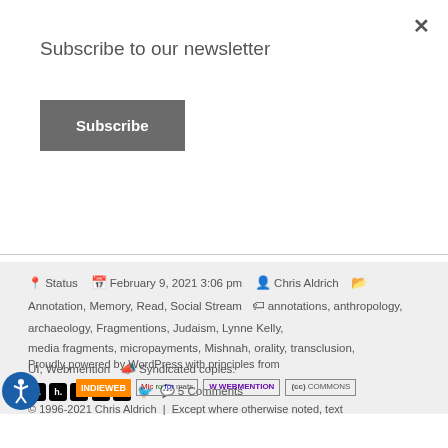Subscribe to our newsletter
Subscribe
📍 Status   📅 February 9, 2021 3:06 pm   👤 Chris Aldrich   🗂 Annotation, Memory, Read, Social Stream   🏷 annotations, anthropology, archaeology, Fragmentions, Judaism, Lynne Kelly, media fragments, micropayments, Mishnah, orality, transclusion, UI, Webmention   📣 Syndicated copies:   [h.] [h.] [h.] [h.] [h.] [twitter] 💬 5 Comments
Proudly powered by WordPress with principles from [IndieWeb] [Microformats] [Webmention] [CC Commons]
© 1996-2021 Chris Aldrich | Except where otherwise noted, text